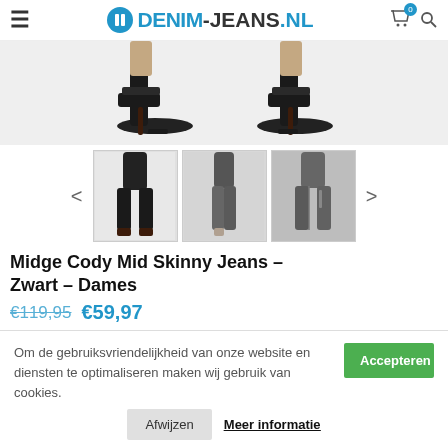DENIM-JEANS.NL
[Figure (photo): Close-up of black high-heel sandals on a person's feet, grey background]
[Figure (photo): Three thumbnail images of black skinny jeans: front view, side view, back view]
Midge Cody Mid Skinny Jeans – Zwart – Dames
€119,95  €59,97
Om de gebruiksvriendelijkheid van onze website en diensten te optimaliseren maken wij gebruik van cookies.
Accepteren
Afwijzen  Meer informatie